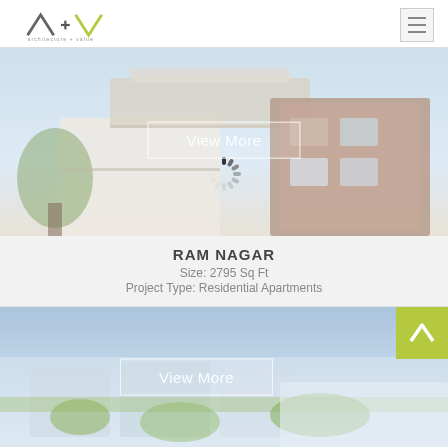[Figure (logo): Architecture + Value logo with angular A+V marks and text 'architecture + value' below]
[Figure (photo): Rendering of Ram Nagar residential apartment building, modern multi-story structure with brick facade, balconies, and trees. Overlaid 'View More' button and loading spinner.]
RAM NAGAR
Size: 2795 Sq Ft
Project Type: Residential Apartments
[Figure (photo): Aerial rendering of second residential apartment project. 'View More' button overlay and green up-arrow scroll button in top-right corner.]